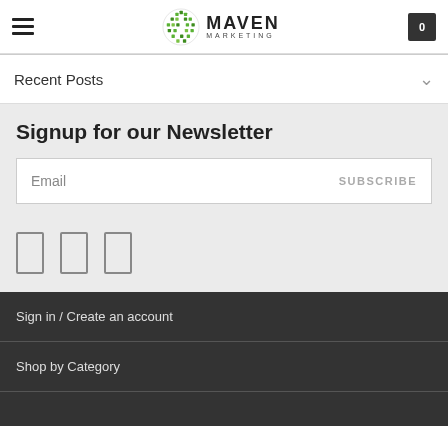Maven Marketing header with hamburger menu, logo, and cart icon showing 0
Recent Posts
Signup for our Newsletter
Email | SUBSCRIBE
[Figure (other): Three social media icon placeholders (rectangular outlines)]
Sign in / Create an account
Shop by Category